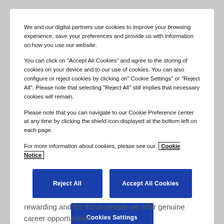We and our digital partners use cookies to improve your browsing experience, save your preferences and provide us with information on how you use our website.
You can click on "Accept All Cookies" and agree to the storing of cookies on your device and to our use of cookies. You can also configure or reject cookies by clicking on" Cookie Settings" or "Reject All". Please note that selecting "Reject All" still implies that necessary cookies will remain.
Please note that you can navigate to our Cookie Preference center at any time by clicking the shield icon displayed at the bottom left on each page.
For more information about cookies, please see our Cookie Notice
Reject All
Accept All Cookies
Cookies Settings
rewarding and for those people we offer genuine career opportunities.